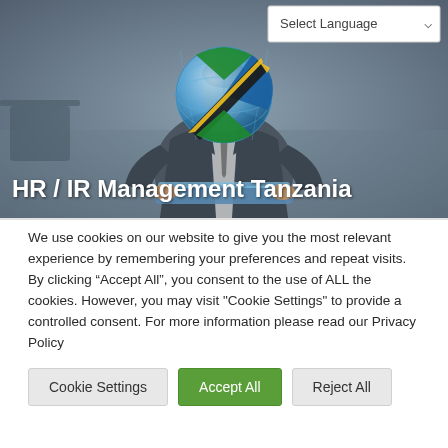[Figure (photo): Hero banner image showing a person in a suit holding a tablet with a digital globe and Tanzania flag overlay. A 'Select Language' dropdown is in the top right corner.]
HR / IR Management Tanzania
We use cookies on our website to give you the most relevant experience by remembering your preferences and repeat visits. By clicking “Accept All”, you consent to the use of ALL the cookies. However, you may visit "Cookie Settings" to provide a controlled consent. For more information please read our Privacy Policy